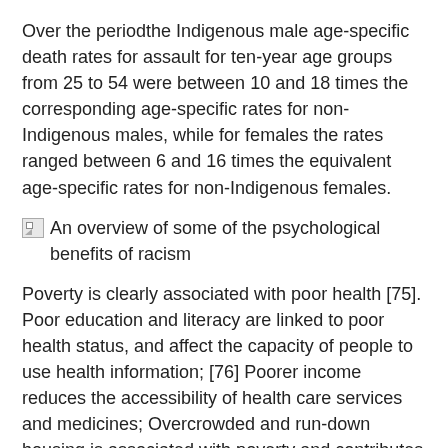Over the periodthe Indigenous male age-specific death rates for assault for ten-year age groups from 25 to 54 were between 10 and 18 times the corresponding age-specific rates for non-Indigenous males, while for females the rates ranged between 6 and 16 times the equivalent age-specific rates for non-Indigenous females.
[Figure (other): Broken image placeholder with alt text: An overview of some of the psychological benefits of racism]
Poverty is clearly associated with poor health [75]. Poor education and literacy are linked to poor health status, and affect the capacity of people to use health information; [76] Poorer income reduces the accessibility of health care services and medicines; Overcrowded and run-down housing is associated with poverty and contributes to the spread of communicable disease [77] ; Poor infant diet is associated with poverty and chronic diseases later in life;